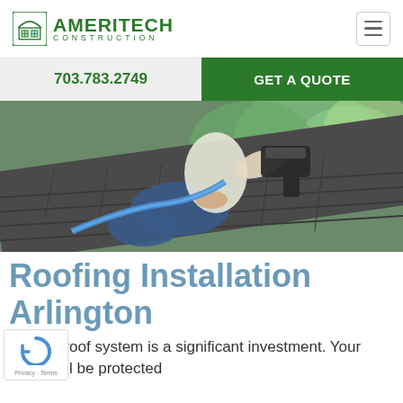AMERITECH CONSTRUCTION
703.783.2749
GET A QUOTE
[Figure (photo): A roofer kneeling on a shingled roof installing shingles with a nail gun, with a blue air hose visible and green trees in the background.]
Roofing Installation Arlington
ng your roof system is a significant investment. Your home will be protected